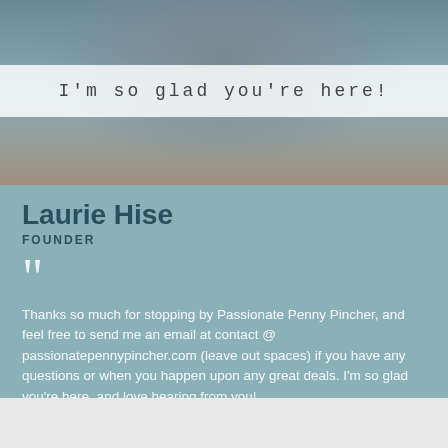[Figure (photo): Photo of Laurie Hise with a semi-transparent white banner overlaid reading "I'm so glad you're here!" in monospace lettering]
Laurie Hise
FOUNDER
Thanks so much for stopping by Passionate Penny Pincher, and feel free to send me an email at contact @ passionatepennypincher.com (leave out spaces) if you have any questions or when you happen upon any great deals. I'm so glad you're here, and love hearing from you!
[Figure (other): Advertisement: Get Your Pet Ready For Summer - Petco]